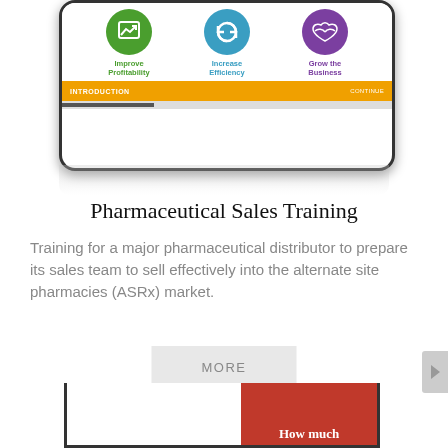[Figure (screenshot): Tablet device showing a pharmaceutical sales training e-learning interface with three circular icons labeled Improve Profitability (green), Increase Efficiency (blue), Grow the Business (purple), an orange navigation bar with INTRODUCTION and CONTINUE, and a progress bar.]
Pharmaceutical Sales Training
Training for a major pharmaceutical distributor to prepare its sales team to sell effectively into the alternate site pharmacies (ASRx) market.
[Figure (screenshot): Partial view of a second tablet device showing a True Advisor corporate training interface with a red image area and the text 'How much' visible at the bottom.]